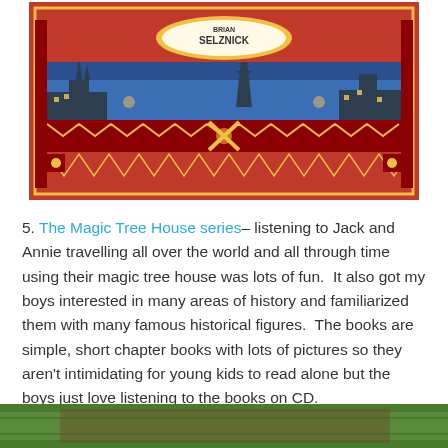[Figure (illustration): Book cover illustration featuring ornate red and gold decorative borders with a Parisian skyline (Eiffel Tower visible) in blue tones at night, with crossed keys or tools in the center. Author name 'BRIAN SELZNICK' visible at top.]
5. The Magic Tree House series– listening to Jack and Annie travelling all over the world and all through time using their magic tree house was lots of fun.  It also got my boys interested in many areas of history and familiarized them with many famous historical figures.  The books are simple, short chapter books with lots of pictures so they aren't intimidating for young kids to read alone but the boys just love listening to the books on CD.
[Figure (illustration): Partial view of another book cover visible at the bottom of the page, showing green/brown tones.]